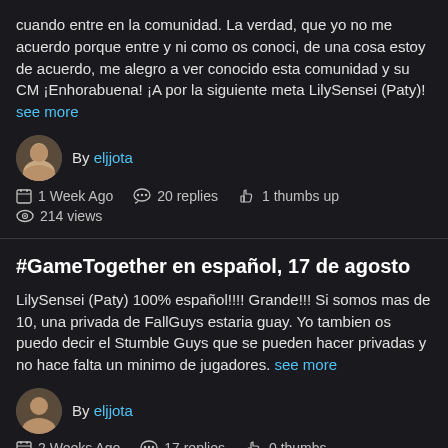cuando entre en la comunidad. La verdad, que yo no me acuerdo porque entre y ni como os conoci, de una cosa estoy de acuerdo, me alegro a ver conocido esta comunidad y su CM ¡Enhorabuena! ¡A por la siguiente meta LilySensei (Paty)! see more
By eljjota
1 Week Ago  20 replies  1 thumbs up  214 views
#GameTogether en español, 17 de agosto
LilySensei (Paty) 100% español!!!! Grande!!! Si somos mas de 10, una privada de FallGuys estaria guay. Yo tambien os puedo decir el Stumble Guys que se pueden hacer privadas y no hace falta un minimo de jugadores. see more
By eljjota
2 Weeks Ago  17 replies  0 thumbs